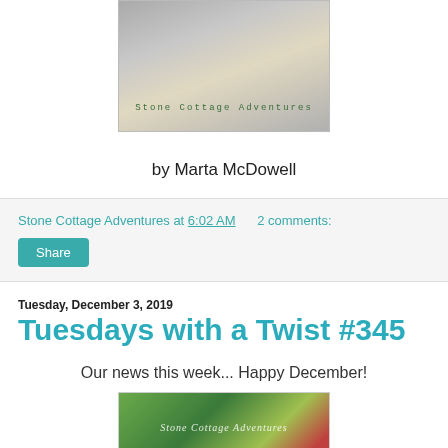[Figure (photo): Photo with text overlay reading 'Stone Cottage Adventures' in green monospace font on a gray/card background]
by Marta McDowell
Stone Cottage Adventures at 6:02 AM    2 comments:
Share
Tuesday, December 3, 2019
Tuesdays with a Twist #345
Our news this week...  Happy December!
[Figure (photo): Photo of red berries and green leaves with 'Stone Cottage Adventures' italic overlay text]